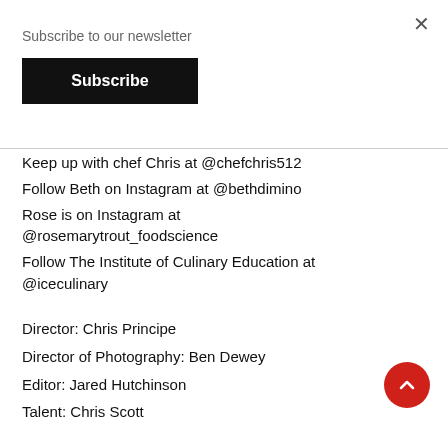Subscribe to our newsletter
Subscribe
Keep up with chef Chris at @chefchris512
Follow Beth on Instagram at @bethdimino
Rose is on Instagram at @rosemarytrout_foodscience
Follow The Institute of Culinary Education at @iceculinary
Director: Chris Principe
Director of Photography: Ben Dewey
Editor: Jared Hutchinson
Talent: Chris Scott